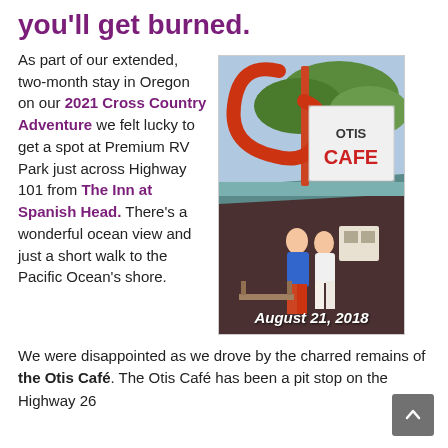you'll get burned.
As part of our extended, two-month stay in Oregon on our 2021 Cross Country Adventure we felt lucky to get a spot at Premium RV Park just across Highway 101 from The Inn at Spanish Head. There's a wonderful ocean view and just a short walk to the Pacific Ocean's shore.
[Figure (photo): Photo of two people standing in front of the Otis Cafe sign, dated August 21, 2018]
We were disappointed as we drove by the charred remains of the Otis Café. The Otis Café has been a pit stop on the Highway 26